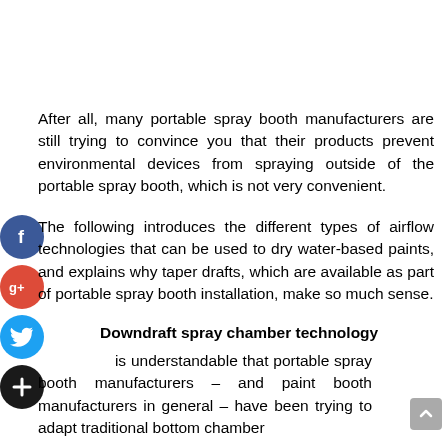After all, many portable spray booth manufacturers are still trying to convince you that their products prevent environmental devices from spraying outside of the portable spray booth, which is not very convenient.
The following introduces the different types of airflow technologies that can be used to dry water-based paints, and explains why taper drafts, which are available as part of portable spray booth installation, make so much sense.
Downdraft spray chamber technology
is understandable that portable spray booth manufacturers – and paint booth manufacturers in general – have been trying to adapt traditional bottom chamber